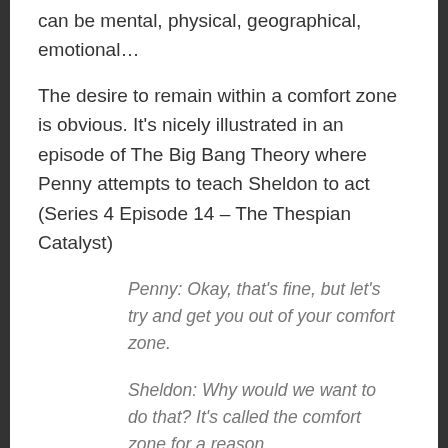can be mental, physical, geographical, emotional…
The desire to remain within a comfort zone is obvious. It's nicely illustrated in an episode of The Big Bang Theory where Penny attempts to teach Sheldon to act (Series 4 Episode 14 – The Thespian Catalyst)
Penny: Okay, that's fine, but let's try and get you out of your comfort zone.
Sheldon: Why would we want to do that? It's called the comfort zone for a reason.